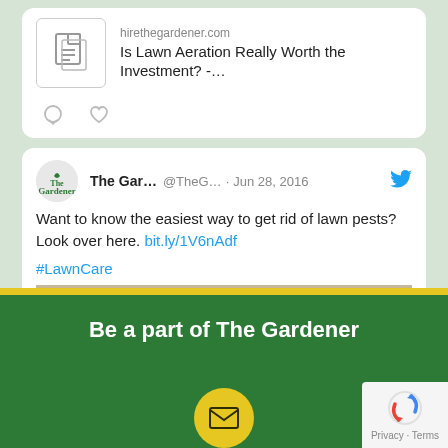[Figure (screenshot): Tweet card showing a link to hirethegardener.com with article 'Is Lawn Aeration Really Worth the Investment? -...' with a document icon]
[Figure (screenshot): Tweet from The Gar... @TheG... Jun 28, 2016 about getting rid of lawn pests with link bit.ly/1V6nAdf and hashtag #LawnCare, with an image of a mole in grass]
Be a part of The Gardener
[Figure (illustration): Yellow circle with envelope/email icon]
[Figure (logo): reCAPTCHA logo with Privacy and Terms text]